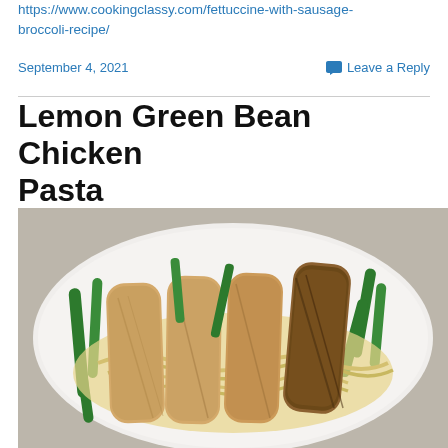https://www.cookingclassy.com/fettuccine-with-sausage-broccoli-recipe/
September 4, 2021
Leave a Reply
Lemon Green Bean Chicken Pasta
[Figure (photo): A white plate with sliced seasoned grilled chicken served over pasta and green beans, photographed from above at a slight angle.]